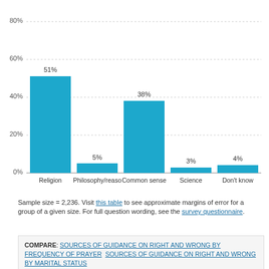[Figure (bar-chart): ]
Sample size = 2,236. Visit this table to see approximate margins of error for a group of a given size. For full question wording, see the survey questionnaire.
COMPARE: SOURCES OF GUIDANCE ON RIGHT AND WRONG BY FREQUENCY OF PRAYER   SOURCES OF GUIDANCE ON RIGHT AND WRONG BY MARITAL STATUS